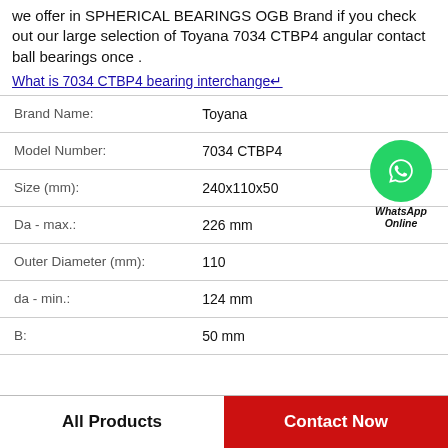we offer in SPHERICAL BEARINGS OGB Brand if you check out our large selection of Toyana 7034 CTBP4 angular contact ball bearings once .
What is 7034 CTBP4 bearing interchange↵
| Property | Value |
| --- | --- |
| Brand Name: | Toyana |
| Model Number: | 7034 CTBP4 |
| Size (mm): | 240x110x50 |
| Da - max.: | 226 mm |
| Outer Diameter (mm): | 110 |
| da - min.: | 124 mm |
| B: | 50 mm |
[Figure (logo): WhatsApp Online green circle phone icon with text WhatsApp Online]
All Products
Contact Now